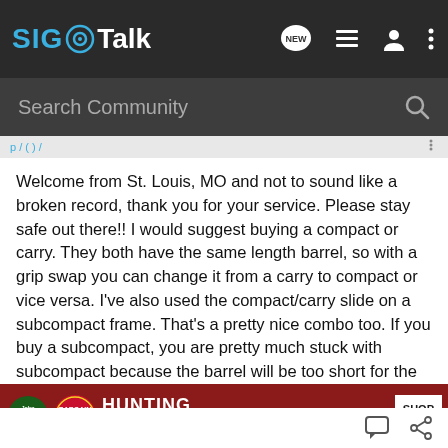SIG Talk
Search Community
Welcome from St. Louis, MO and not to sound like a broken record, thank you for your service. Please stay safe out there!! I would suggest buying a compact or carry. They both have the same length barrel, so with a grip swap you can change it from a carry to compact or vice versa. I've also used the compact/carry slide on a subcompact frame. That's a pretty nice combo too. If you buy a subcompact, you are pretty much stuck with subcompact because the barrel will be too short for the larger frames. You could however buy an x-change kit for ~$400 and choose a larger slide/barrel/grip/magazine if you want. I would probably look at a full size if I planned to use it for home self defense and shooting at the range.
[Figure (infographic): Bass Pro Shops advertisement banner: Bargain Cave Hunting Clearance with Shop Now button]